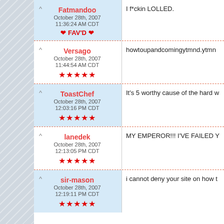Fatmandoo | October 28th, 2007 11:36:24 AM CDT | FAV'D | I f*ckin LOLLED.
Versago | October 28th, 2007 11:44:54 AM CDT | ★★★★★ | howtoupandcomingytmnd.ytmn...
ToastChef | October 28th, 2007 12:03:16 PM CDT | ★★★★★ | It's 5 worthy cause of the hard w...
lanedek | October 28th, 2007 12:13:05 PM CDT | ★★★★★ | MY EMPEROR!!! I'VE FAILED Y...
sir-mason | October 28th, 2007 12:19:11 PM CDT | ★★★★★ | i cannot deny your site on how t...